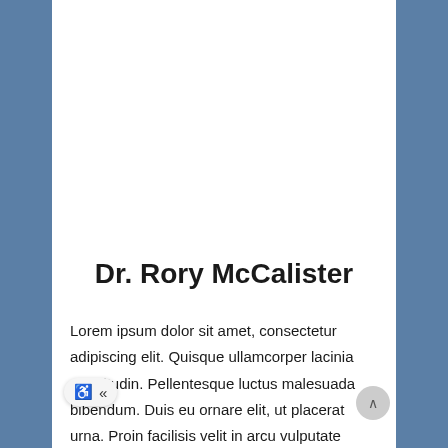Dr. Rory McCalister
Lorem ipsum dolor sit amet, consectetur adipiscing elit. Quisque ullamcorper lacinia sollicitudin. Pellentesque luctus malesuada bibendum. Duis eu ornare elit, ut placerat urna. Proin facilisis velit in arcu vulputate molestie. Ut iaculis elit nunc, at accumsan libero convallis vel.